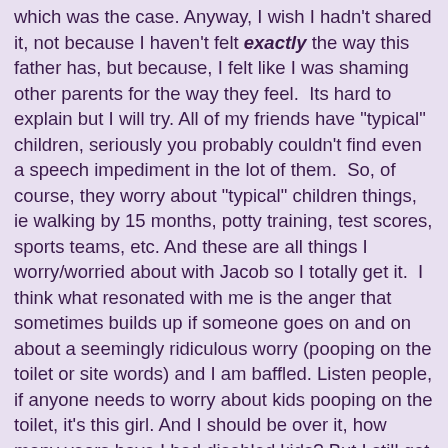which was the case. Anyway, I wish I hadn't shared it, not because I haven't felt exactly the way this father has, but because, I felt like I was shaming other parents for the way they feel.  Its hard to explain but I will try. All of my friends have "typical" children, seriously you probably couldn't find even a speech impediment in the lot of them.  So, of course, they worry about "typical" children things, ie walking by 15 months, potty training, test scores, sports teams, etc. And these are all things I worry/worried about with Jacob so I totally get it.  I think what resonated with me is the anger that sometimes builds up if someone goes on and on about a seemingly ridiculous worry (pooping on the toilet or site words) and I am baffled. Listen people, if anyone needs to worry about kids pooping on the toilet, it's this girl. And I should be over it, how many years have I had disabled kids? But I still get all fired up inside. Again, that's what parents with typical kids worry about, so move on Mary (sorry, that was me talking to myself). But a son being gay worry is different. Maybe the couple was worried about how their son would be treated or ostracized or left out if he were gay. Maybe they worried he wouldn't be able to marry or have a family or do what most of us take for granted if he were gay.